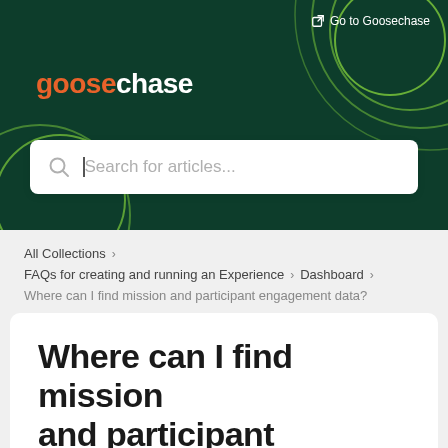Go to Goosechase
[Figure (logo): Goosechase logo with orange 'goose' and white 'chase' text on dark green background]
Search for articles...
All Collections
FAQs for creating and running an Experience > Dashboard
Where can I find mission and participant engagement data?
Where can I find mission and participant engagement data?